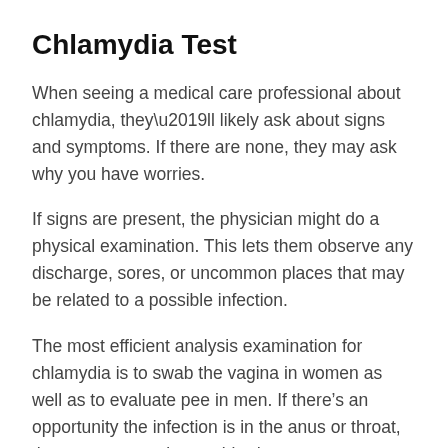Chlamydia Test
When seeing a medical care professional about chlamydia, they’ll likely ask about signs and symptoms. If there are none, they may ask why you have worries.
If signs are present, the physician might do a physical examination. This lets them observe any discharge, sores, or uncommon places that may be related to a possible infection.
The most efficient analysis examination for chlamydia is to swab the vagina in women as well as to evaluate pee in men. If there’s an opportunity the infection is in the anus or throat, these areas may be swabbed.